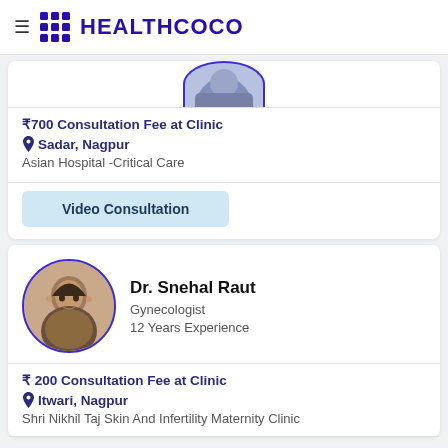HEALTHCOCO
[Figure (photo): Partial doctor profile photo (cropped, top of head visible)]
₹700 Consultation Fee at Clinic
Sadar, Nagpur
Asian Hospital -Critical Care
Video Consultation
[Figure (photo): Dr. Snehal Raut profile photo, woman with dark hair]
Dr. Snehal Raut
Gynecologist
12 Years Experience
₹ 200 Consultation Fee at Clinic
Itwari, Nagpur
Shri Nikhil Taj Skin And Infertility Maternity Clinic